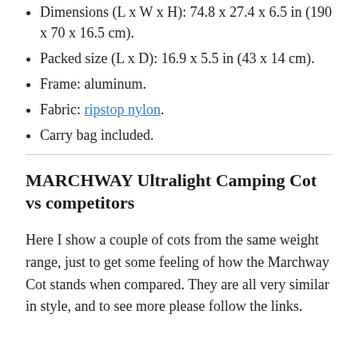Dimensions (L x W x H): 74.8 x 27.4 x 6.5 in (190 x 70 x 16.5 cm).
Packed size (L x D): 16.9 x 5.5 in (43 x 14 cm).
Frame: aluminum.
Fabric: ripstop nylon.
Carry bag included.
MARCHWAY Ultralight Camping Cot vs competitors
Here I show a couple of cots from the same weight range, just to get some feeling of how the Marchway Cot stands when compared. They are all very similar in style, and to see more please follow the links.